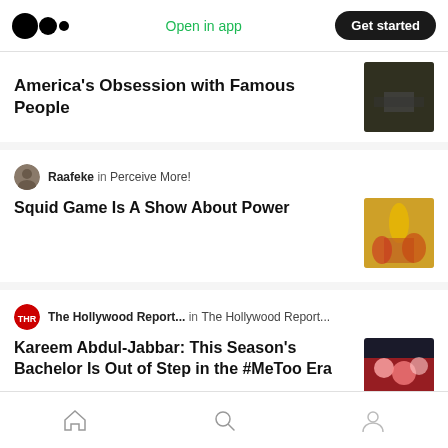Medium logo | Open in app | Get started
America's Obsession with Famous People
Raafeke in Perceive More!
Squid Game Is A Show About Power
The Hollywood Report... in The Hollywood Report...
Kareem Abdul-Jabbar: This Season's Bachelor Is Out of Step in the #MeToo Era
Marvin Liao
Marvin's Best Weekly Reads November 15th, 2020
Home | Search | Profile